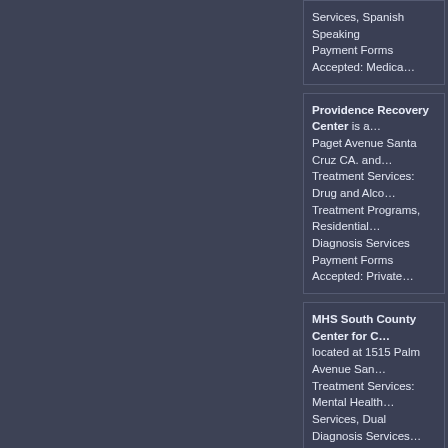Services, Spanish Speaking
Payment Forms Accepted: Medica...
Providence Recovery Center is a... Paget Avenue Santa Cruz CA. and... Treatment Services: Drug and Alco... Treatment Programs, Residential... Diagnosis Services
Payment Forms Accepted: Private...
MHS South County Center for C... located at 1515 Palm Avenue San... Treatment Services: Mental Health... Services, Dual Diagnosis Services...
Payment Forms Accepted: Medica...
Family Service of Long Beach is... 16704 Clark Avenue Bellflower CA... Treatment Services: Drug and Alco... Clients, Spanish Speaking
Payment Forms Accepted: Private... Assistance
El Dorado Council on Alcoholis... Facility located at 893 Spring Stre... 8193.
Treatment Services: Drug and Alco... Teens, Services for DUI Clients, C...
Payment Forms Accepted: Medica...